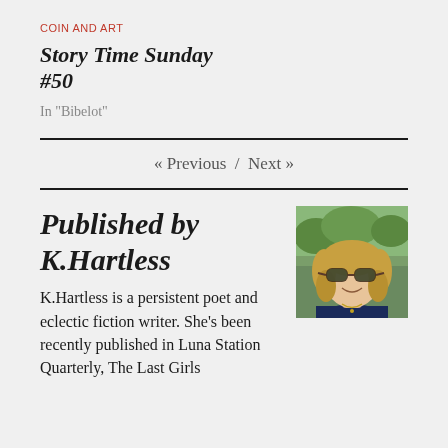Coin and Art
Story Time Sunday
#50
In "Bibelot"
« Previous  /  Next »
Published by K.Hartless
[Figure (photo): Headshot photo of K.Hartless, a woman with blonde wavy hair and sunglasses, smiling outdoors]
K.Hartless is a persistent poet and eclectic fiction writer. She's been recently published in Luna Station Quarterly, The Last Girls